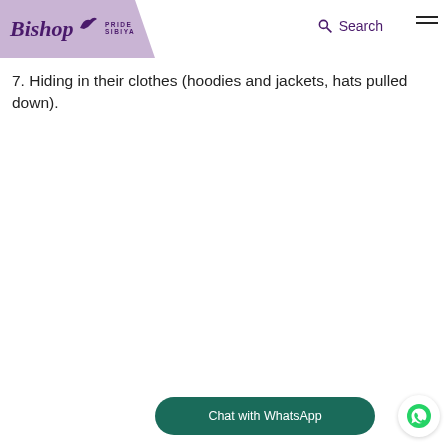Bishop Pride Sibiya — Search navigation header
7. Hiding in their clothes (hoodies and jackets, hats pulled down).
Chat with WhatsApp